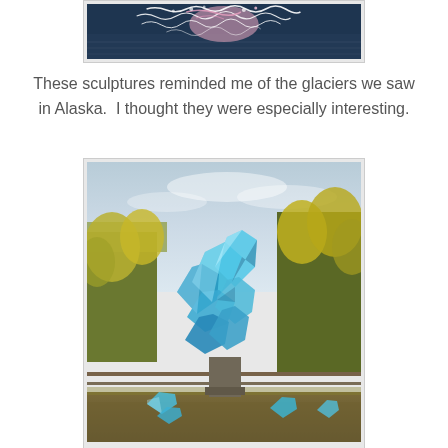[Figure (photo): Top portion of a glass sculpture reflected in water, showing white and pink squiggly glass elements against a dark water background]
These sculptures reminded me of the glaciers we saw in Alaska.  I thought they were especially interesting.
[Figure (photo): A large blue glass sculpture resembling glacier ice chunks, displayed outdoors on a pedestal surrounded by autumn trees and smaller blue glass pieces on the ground]